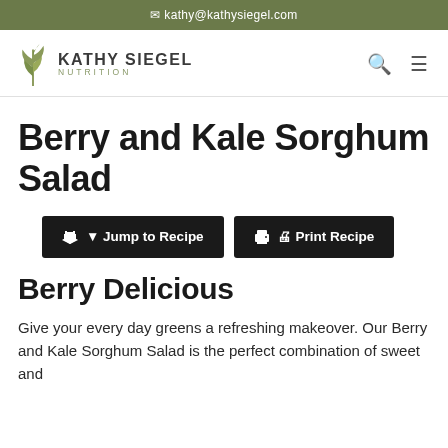✉ kathy@kathysiegel.com
[Figure (logo): Kathy Siegel Nutrition logo with leaf/plant icon and text KATHY SIEGEL NUTRITION]
Berry and Kale Sorghum Salad
Jump to Recipe
Print Recipe
Berry Delicious
Give your every day greens a refreshing makeover. Our Berry and Kale Sorghum Salad is the perfect combination of sweet and